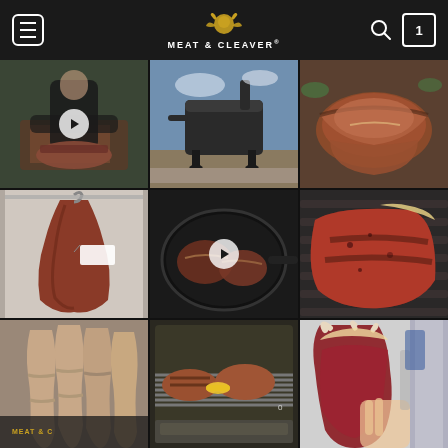MEAT & CLEAVER®
[Figure (photo): Person in black shirt preparing/cutting meat on a wooden board, video thumbnail with play button]
[Figure (photo): Large black BBQ smoker/grill on a patio outdoors]
[Figure (photo): Sliced smoked/roasted beef brisket pieces on a surface]
[Figure (photo): Large raw beef cut hanging in dry-age refrigerator with label tag]
[Figure (photo): Raw steaks in a dark cast iron pan, video thumbnail with play button]
[Figure (photo): Seasoned/rubbed large steak on a grill grate]
[Figure (photo): Close-up of linked sausages held in hand with Meat & Cleaver branding visible]
[Figure (photo): Steaks and corn cooking on a grill inside an oven/smoker]
[Figure (photo): Person holding a very large raw bone-in beef cut in a cold room]